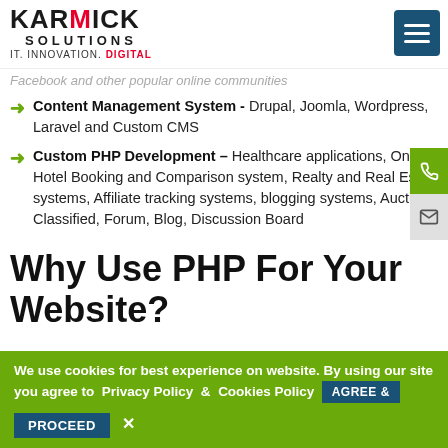Karmick Solutions — IT. Innovation. Digital.
Facebook and other popular online communities
Content Management System - Drupal, Joomla, Wordpress, Laravel and Custom CMS
Custom PHP Development – Healthcare applications, Online Hotel Booking and Comparison system, Realty and Real Estate systems, Affiliate tracking systems, blogging systems, Auctions, Classified, Forum, Blog, Discussion Board
Why Use PHP For Your Website?
We use cookies for best experience on website. By using our site you agree to Privacy Policy & Cookies Policy AGREE & PROCEED ✕